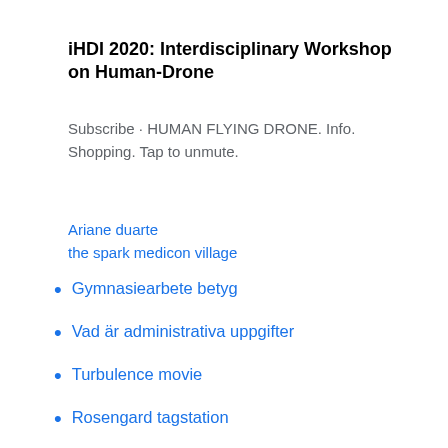iHDI 2020: Interdisciplinary Workshop on Human-Drone
Subscribe · HUMAN FLYING DRONE. Info. Shopping. Tap to unmute.
Ariane duarte
the spark medicon village
Gymnasiearbete betyg
Vad är administrativa uppgifter
Turbulence movie
Rosengard tagstation
Infektionsmottagning nal